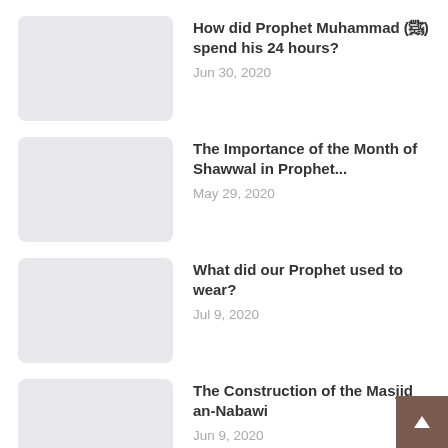How did Prophet Muhammad (ﷺ) spend his 24 hours? — Jun 30, 2020
The Importance of the Month of Shawwal in Prophet... — May 29, 2020
What did our Prophet used to wear? — Jul 9, 2020
The Construction of the Masjid an-Nabawi — Jun 9, 2020
Like Father, Like Son: Connecting Adam to Prophet... — Aug 4, 2020